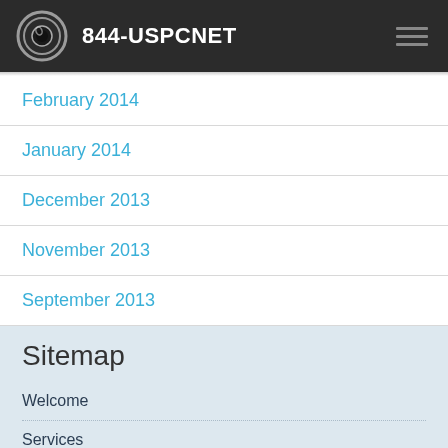844-USPCNET
February 2014
January 2014
December 2013
November 2013
September 2013
Sitemap
Welcome
Services
About USPCNET
Is This You?
News & Events